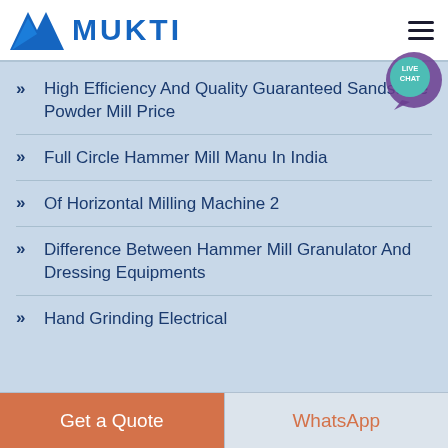MUKTI
High Efficiency And Quality Guaranteed Sandstone Powder Mill Price
Full Circle Hammer Mill Manu In India
Of Horizontal Milling Machine 2
Difference Between Hammer Mill Granulator And Dressing Equipments
Hand Grinding Electrical
Get a Quote | WhatsApp